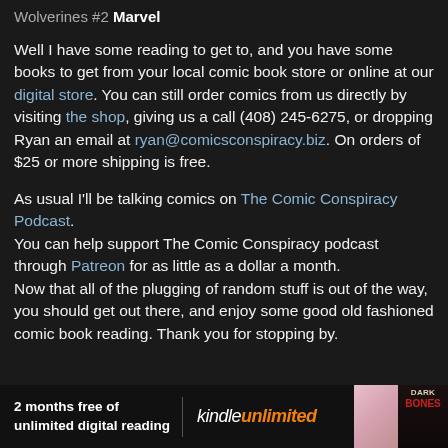Wolverines #2 Marvel
Well I have some reading to get to, and you have some books to get from your local comic book store or online at our digital store. You can still order comics from us directly by visiting the shop, giving us a call (408) 245-6275, or dropping Ryan an email at ryan@comicsconspiracy.biz. On orders of $25 or more shipping is free.
As usual I'll be talking comics on The Comic Conspiracy Podcast.
You can help support The Comic Conspiracy podcast through Patreon for as little as a dollar a month.
Now that all of the plugging of random stuff is out of the way, you should get out there, and enjoy some good old fashioned comic book reading. Thank you for stopping by.
[Figure (infographic): Kindle Unlimited advertisement banner: '2 months free of unlimited digital reading' with Kindle Unlimited logo and book cover images including 'Dark Bones']